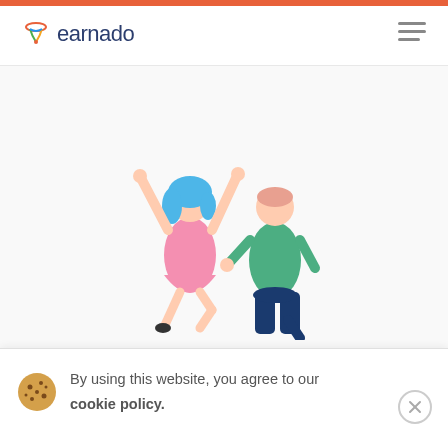earnado
[Figure (illustration): Two people celebrating joyfully — a woman with blue hair in a pink dress with arms raised, and a man in a green sweater with dark pants in an excited pose]
By using this website, you agree to our cookie policy.